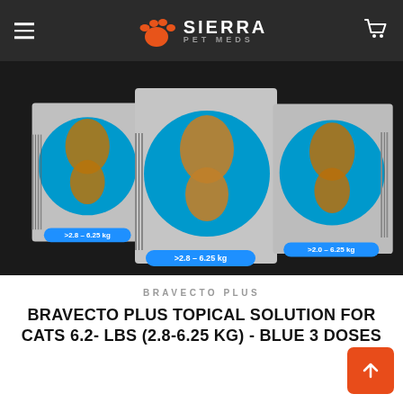Sierra Pet Meds — navigation header with hamburger menu and cart icon
[Figure (photo): Three Bravecto Plus product boxes for cats 2.8-6.25 kg (Blue), displayed side by side against a dark background. Each box shows a tabby cat on a blue circle background, with product details visible on the boxes.]
BRAVECTO PLUS
BRAVECTO PLUS TOPICAL SOLUTION FOR CATS 6.2- LBS (2.8-6.25 KG) - BLUE 3 DOSES